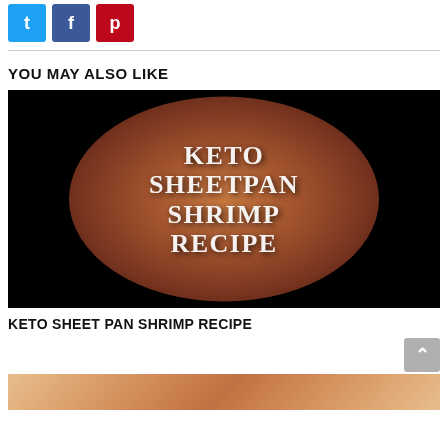[Figure (other): Social media share buttons: Twitter (blue), Facebook (dark blue), Pinterest (red)]
YOU MAY ALSO LIKE
[Figure (photo): Thumbnail image for Keto Sheet Pan Shrimp Recipe video. Black background with circular dish containing shrimp and vegetables. Overlay text reads: KETO SHEETPAN SHRIMP RECIPE]
KETO SHEET PAN SHRIMP RECIPE
[Figure (photo): Partial image of another recipe at the bottom of the page]